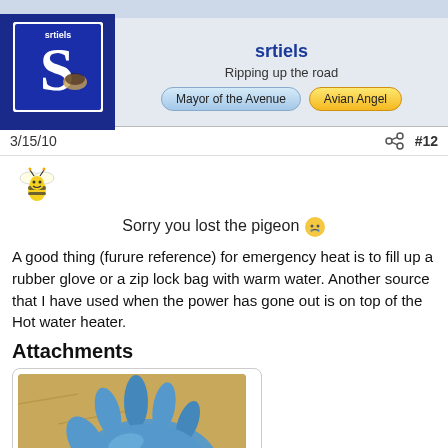srtiels
Ripping up the road
Mayor of the Avenue   Avian Angel
3/15/10   #12
Sorry you lost the pigeon 😢
A good thing (furure reference) for emergency heat is to fill up a rubber glove or a zip lock bag with warm water. Another source that I have used when the power has gone out is on top of the Hot water heater.
Attachments
[Figure (photo): Blue rubber glove filled with warm water lying on wood shavings/bedding material, with what appears to be an egg or ball nearby. Used as emergency heat source for birds.]
Glove-emergency-he...
97.8 KB    Views: 5